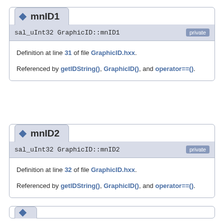mnID1
sal_uInt32 GraphicID::mnID1
Definition at line 31 of file GraphicID.hxx.

Referenced by getIDString(), GraphicID(), and operator==().
mnID2
sal_uInt32 GraphicID::mnID2
Definition at line 32 of file GraphicID.hxx.

Referenced by getIDString(), GraphicID(), and operator==().